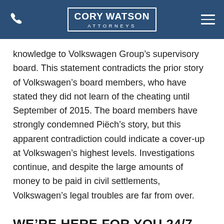CORY WATSON ATTORNEYS
knowledge to Volkswagen Group’s supervisory board. This statement contradicts the prior story of Volkswagen’s board members, who have stated they did not learn of the cheating until September of 2015. The board members have strongly condemned Piëch’s story, but this apparent contradiction could indicate a cover-up at Volkswagen’s highest levels. Investigations continue, and despite the large amounts of money to be paid in civil settlements, Volkswagen’s legal troubles are far from over.
WE’RE HERE FOR YOU 24/7